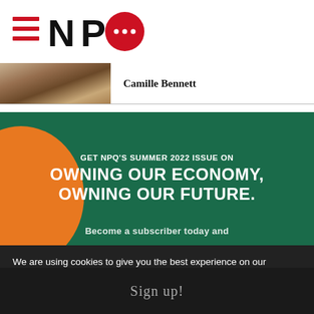NPQ logo
[Figure (photo): Thumbnail image of a person]
Camille Bennett
[Figure (infographic): Green promotional banner reading: GET NPQ'S SUMMER 2022 ISSUE ON OWNING OUR ECONOMY, OWNING OUR FUTURE. with orange circle decoration and partially cut-off text at bottom.]
We are using cookies to give you the best experience on our website.
Sign up!